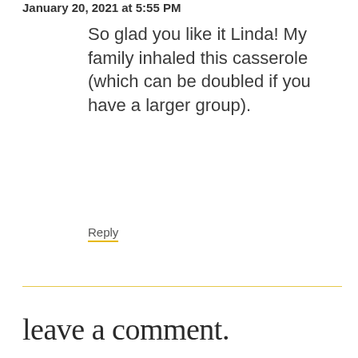January 20, 2021 at 5:55 PM
So glad you like it Linda! My family inhaled this casserole (which can be doubled if you have a larger group).
Reply
leave a comment.